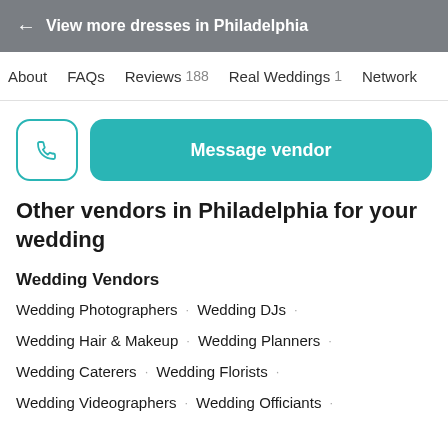← View more dresses in Philadelphia
About   FAQs   Reviews 188   Real Weddings 1   Network
[Figure (other): Phone call button icon (teal outline rounded square) and teal 'Message vendor' button]
Other vendors in Philadelphia for your wedding
Wedding Vendors
Wedding Photographers · Wedding DJs ·
Wedding Hair & Makeup · Wedding Planners ·
Wedding Caterers · Wedding Florists ·
Wedding Videographers · Wedding Officiants ·